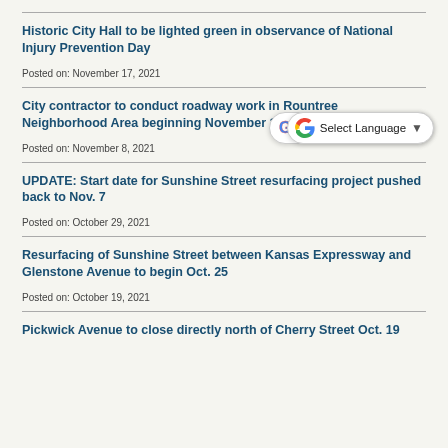Historic City Hall to be lighted green in observance of National Injury Prevention Day
Posted on: November 17, 2021
City contractor to conduct roadway work in Rountree Neighborhood Area beginning November 10
Posted on: November 8, 2021
UPDATE: Start date for Sunshine Street resurfacing project pushed back to Nov. 7
Posted on: October 29, 2021
Resurfacing of Sunshine Street between Kansas Expressway and Glenstone Avenue to begin Oct. 25
Posted on: October 19, 2021
Pickwick Avenue to close directly north of Cherry Street Oct. 19